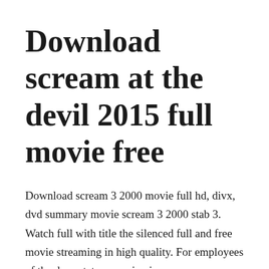Download scream at the devil 2015 full movie free
Download scream 3 2000 movie full hd, divx, dvd summary movie scream 3 2000 stab 3. Watch full with title the silenced full and free movie streaming in high quality. For employees of the deep state, conspiracies